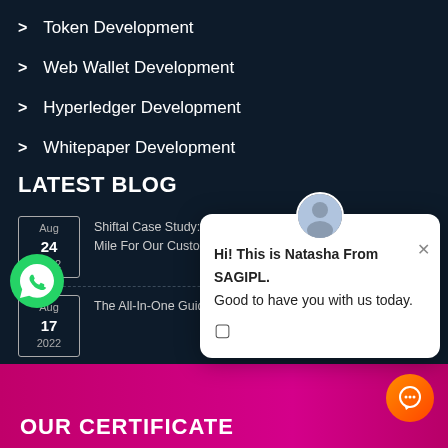Token Development
Web Wallet Development
Hyperledger Development
Whitepaper Development
LATEST BLOG
Aug 24 2022 — Shiftal Case Study: SAG IPL Is Ready To Walk The Extra Mile For Our Customers
Aug 17 2022 — The All-In-One Guide To...
Jul 29 ... A Comprehensive Guide ... Process
Jul 14 2022 — PanKuKu: A Case Study...
[Figure (other): Chat popup overlay with avatar of Natasha from SAGIPL. Message: Hi! This is Natasha From SAGIPL. Good to have you with us today. With a text input indicator.]
[Figure (other): WhatsApp green circular button icon (bottom left)]
[Figure (other): Orange chat button (bottom right)]
OUR CERTIFICATE